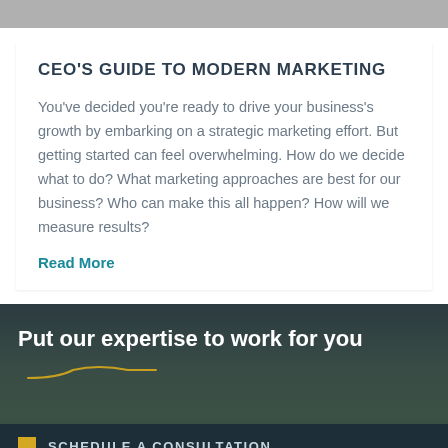CEO'S GUIDE TO MODERN MARKETING
You've decided you're ready to drive your business's growth by embarking on a strategic marketing effort. But getting started can feel overwhelming. How do we decide what to do? What marketing approaches are best for our business? Who can make this all happen? How will we measure results?
Read More
Put our expertise to work for you
SCHEDULE A CONSULTATION